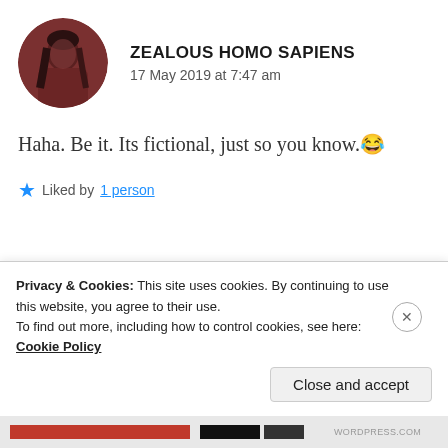[Figure (photo): Circular avatar photo of a person with dark hair, reddish-brown toned image]
ZEALOUS HOMO SAPIENS
17 May 2019 at 7:47 am
Haha. Be it. Its fictional, just so you know.😂
★ Liked by 1 person
[Figure (photo): Circular gray placeholder avatar for user Barney]
BARNEY
Privacy & Cookies: This site uses cookies. By continuing to use this website, you agree to their use.
To find out more, including how to control cookies, see here: Cookie Policy
Close and accept